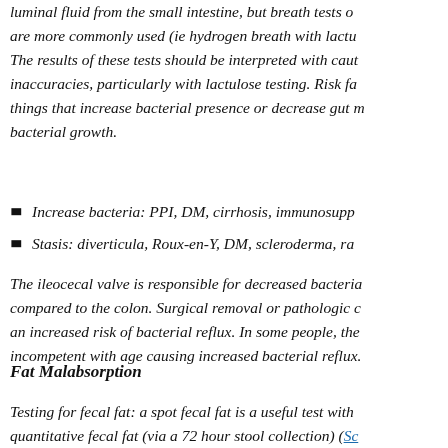luminal fluid from the small intestine, but breath tests are more commonly used (ie hydrogen breath with lactulose). The results of these tests should be interpreted with caution due to inaccuracies, particularly with lactulose testing. Risk factors are things that increase bacterial presence or decrease gut motility/promote bacterial growth.
Increase bacteria: PPI, DM, cirrhosis, immunosuppression
Stasis: diverticula, Roux-en-Y, DM, scleroderma, radiation
The ileocecal valve is responsible for decreased bacterial counts compared to the colon. Surgical removal or pathologic changes lead to an increased risk of bacterial reflux. In some people, the valve becomes incompetent with age causing increased bacterial reflux.
Fat Malabsorption
Testing for fecal fat: a spot fecal fat is a useful test with good sensitivity, quantitative fecal fat (via a 72 hour stool collection) (Sc...